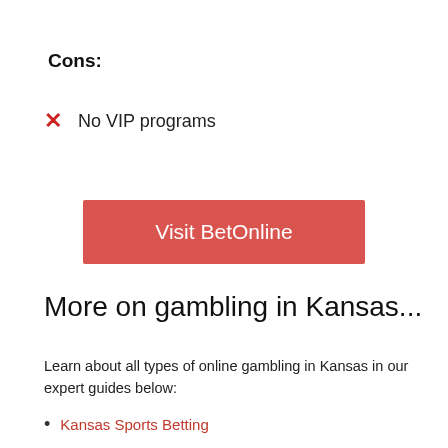Cons:
✗ No VIP programs
Visit BetOnline
More on gambling in Kansas...
Learn about all types of online gambling in Kansas in our expert guides below:
Kansas Sports Betting